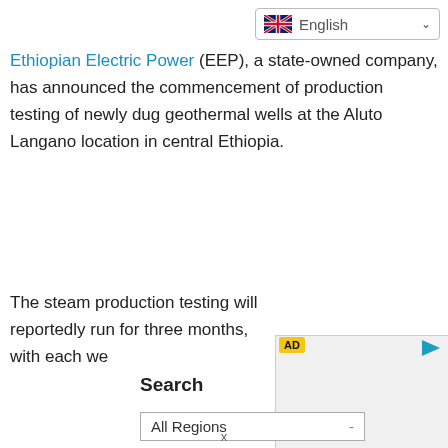[Figure (other): Language selector dropdown showing UK flag and 'English' with chevron]
Ethiopian Electric Power (EEP), a state-owned company, has announced the commencement of production testing of newly dug geothermal wells at the Aluto Langano location in central Ethiopia.
The steam production testing will reportedly run for three months, with each we[obscured by AD overlay]
[Figure (other): AD overlay banner with yellow AD label and play button icon]
Search
[Figure (other): All Regions dropdown selector]